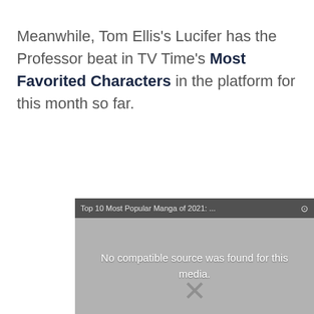Meanwhile, Tom Ellis's Lucifer has the Professor beat in TV Time's Most Favorited Characters in the platform for this month so far.
[Figure (screenshot): Embedded video player showing error message: 'No compatible source was found for this media.' with title bar reading 'Top 10 Most Popular Manga of 2021: ...' and a close button.]